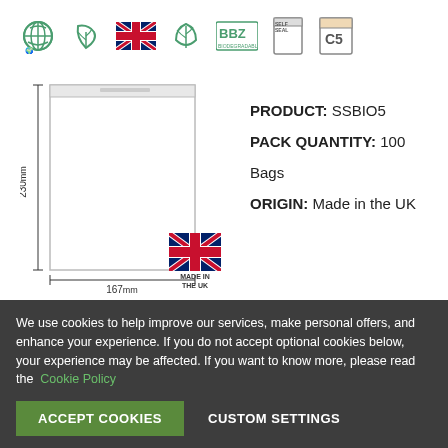[Figure (illustration): Row of product icons: globe/eco, leaf/plant, UK flag, leaf/vegan, BBZ certification logo, self-seal icon, C5 size icon]
[Figure (schematic): Diagram of a self-seal bag with dimensions 167mm width and 230mm height, with a Made in the UK badge]
PRODUCT: SSBIO5
PACK QUANTITY: 100
Bags
ORIGIN: Made in the UK
We use cookies to help improve our services, make personal offers, and enhance your experience. If you do not accept optional cookies below, your experience may be affected. If you want to know more, please read the Cookie Policy
ACCEPT COOKIES
CUSTOM SETTINGS